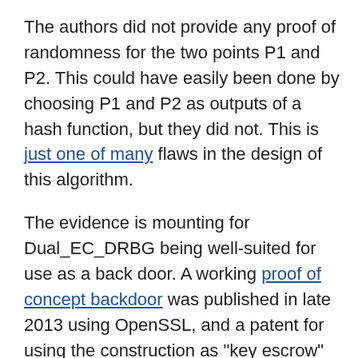The authors did not provide any proof of randomness for the two points P1 and P2. This could have easily been done by choosing P1 and P2 as outputs of a hash function, but they did not. This is just one of many flaws in the design of this algorithm.
The evidence is mounting for Dual_EC_DRBG being well-suited for use as a back door. A working proof of concept backdoor was published in late 2013 using OpenSSL, and a patent for using the construction as "key escrow" (another term for backdoor) was filed back in 2006.